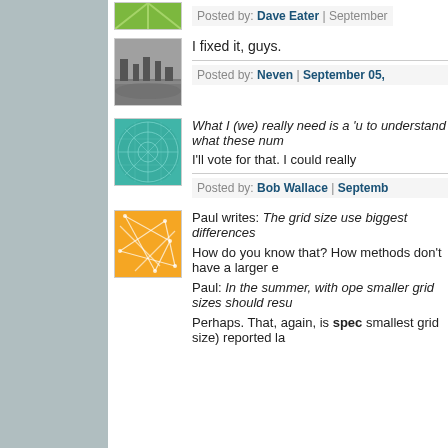[Figure (illustration): Green radial/sunburst avatar image (partially visible at top)]
Posted by: Dave Eater | September
[Figure (photo): Black and white photo of a cityscape/bridge]
I fixed it, guys.
Posted by: Neven | September 05,
[Figure (illustration): Teal/cyan abstract circular pattern avatar]
What I (we) really need is a 'u to understand what these num
I'll vote for that. I could really
Posted by: Bob Wallace | Septemb
[Figure (illustration): Orange abstract geometric network pattern avatar]
Paul writes: The grid size use biggest differences
How do you know that? How methods don't have a larger e
Paul: In the summer, with ope smaller grid sizes should resu
Perhaps. That, again, is spec smallest grid size) reported la